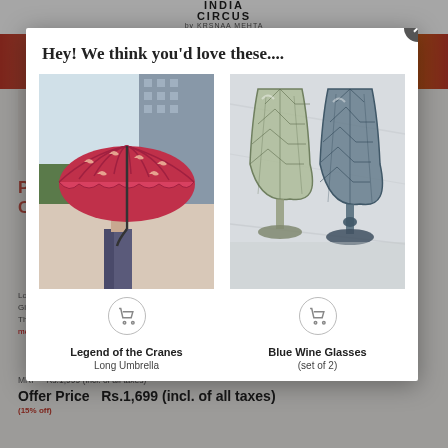[Figure (screenshot): India Circus e-commerce website background with logo, colorful banner, and product page partially visible]
Hey! We think you'd love these....
[Figure (photo): Red umbrella with crane/bird pattern - Legend of the Cranes Long Umbrella]
Legend of the Cranes
Long Umbrella
[Figure (photo): Two blue diamond-cut wine glasses on marble surface - Blue Wine Glasses (set of 2)]
Blue Wine Glasses
(set of 2)